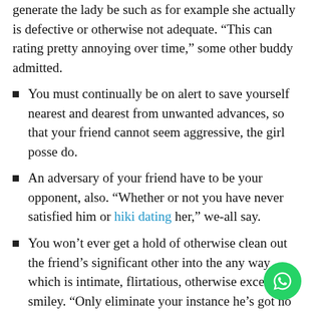generate the lady be such as for example she actually is defective or otherwise not adequate. “This can rating pretty annoying over time,” some other buddy admitted.
You must continually be on alert to save yourself nearest and dearest from unwanted advances, so that your friend cannot seem aggressive, the girl posse do.
An adversary of your friend have to be your opponent, also. “Whether or not you have never satisfied him or hiki dating her,” we-all say.
You won’t ever get a hold of otherwise clean out the friend’s significant other into the any way which is intimate, flirtatious, otherwise excessive smiley. “Only eliminate your instance he’s got no genitalia,” was you to buddy’s serious pointers.
You may never connect otherwise hook up with someone your pal provides ever endured an effective crush into the, dated, or indicated one demand for because the potential partner. “There isn’t any statute out of limitations … lots of limits, consequently,”